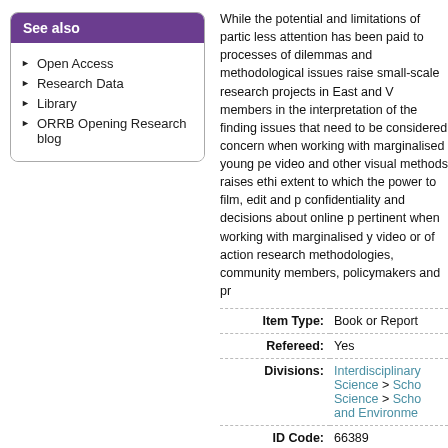See also
Open Access
Research Data
Library
ORRB Opening Research blog
While the potential and limitations of partic less attention has been paid to processes of dilemmas and methodological issues raise small-scale research projects in East and V members in the interpretation of the finding issues that need to be considered concern when working with marginalised young pe video and other visual methods raises ethi extent to which the power to film, edit and confidentiality and decisions about online p pertinent when working with marginalised y video or of action research methodologies, community members, policymakers and pr
|  |  |
| --- | --- |
| Item Type: | Book or Report |
| Refereed: | Yes |
| Divisions: | Interdisciplinary
Science > Scho
Science > Scho
and Environme |
| ID Code: | 66389 |
| Uncontrolled
Keywords: | Participatory dis
Reflexivity Cros |
| Additional
Information: | Springer Living |
| Publisher: | Springer |